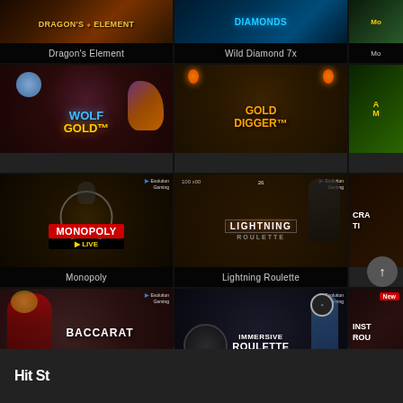[Figure (screenshot): Online casino game grid showing game thumbnails: Dragon's Element (partial top), Wild Diamond 7x (partial top), Wolf Gold, Gold Digger, Monopoly Live, Lightning Roulette, Baccarat A, Immersive Roulette, and partial cards for Crazy Time and Instant Roulette. Each card has a game image and label below.]
Dragon's Element
Wild Diamond 7x
Monopoly
Lightning Roulette
Baccarat A
Immersive Roulette
Hit St